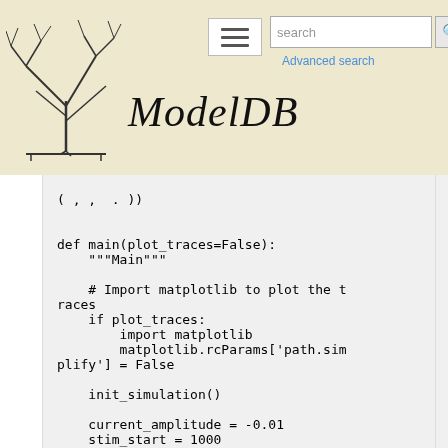ModelDB — website header with logo and search bar
( , , . ))
def main(plot_traces=False):
    """Main"""

    # Import matplotlib to plot the traces
    if plot_traces:
        import matplotlib
        matplotlib.rcParams['path.simplify'] = False

    init_simulation()

    current_amplitude = -0.01
    stim_start = 1000
    stim_end = 2000

    time, soma_voltage, stim_start, stim_end = run_PmpBiTau.step(